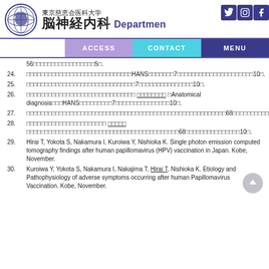東京慈恵会医科大学 脳神経内科 Department of Neurology
56□□□□□□□□□□□□□□□□□5□.
24. □□□□□□□□□□□□□□□□□□□□□□□□□□□□□HANS□□□□□□□7□□□□□□□□□□□□□□□□□□□□□10□.
25. □□□□□□□□□□□□□□□□□□□□□□□□□□□□□□7□□□□□□□□□□□□□□□10□.
26. □□□□□□□□□□□□□□□□□□□□□□□□□□□□□□ □Anatomical diagnosis□□□HANS□□□□□□□□□7□□□□□□□□□□□□□□□10□.
27. □□□□□□□□□□□□□□□□□□□□□□□□□□□□□□□□□□□□□□□□□□□□□□□□□□□□□□□□□68□□□□□□□□□□□□□□□□□□□10□.
28. □□□□□□□□□□□□□□□□□□□□□□ □□□□□□□□□□□□□□□□□□□□□□□□□□□□□□□□□□□□□□□□□□68□□□□□□□□□□□□□□□10□.
29. Hirai T, Yokota S, Nakamura I, Kuroiwa Y, Nishioka K. Single photon emission computed tomography findings after human papillomavirus (HPV) vaccination in Japan. Kobe, November.
30. Kuroiwa Y, Yokota S, Nakamura I, Nakajima T, Hirai T, Nishioka K. Etiology and Pathophysiology of adverse symptoms occurring after human Papillomavirus Vaccination. Kobe, November.